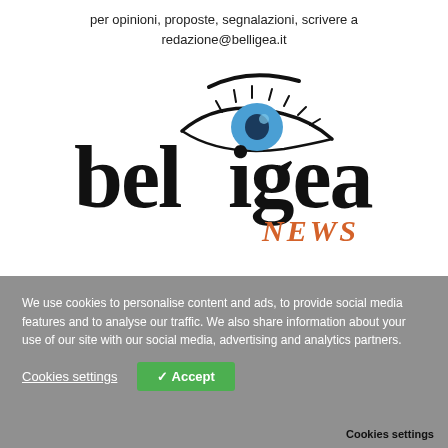per opinioni, proposte, segnalazioni, scrivere a redazione@belligea.it
[Figure (logo): Belligea News logo — stylized black serif text 'belligea' with an illustrated blue eye replacing the double-l letters, and 'NEWS' in orange handwritten style text below]
We use cookies to personalise content and ads, to provide social media features and to analyse our traffic. We also share information about your use of our site with our social media, advertising and analytics partners.
Cookies settings
✓ Accept
Cookies settings